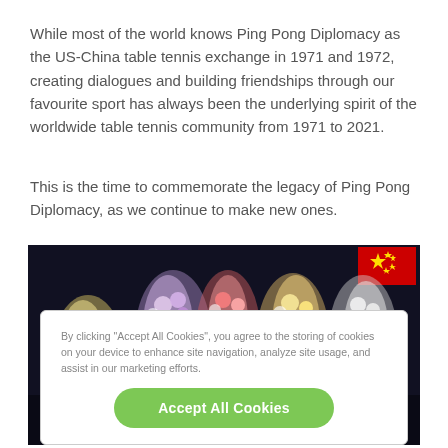While most of the world knows Ping Pong Diplomacy as the US-China table tennis exchange in 1971 and 1972, creating dialogues and building friendships through our favourite sport has always been the underlying spirit of the worldwide table tennis community from 1971 to 2021.
This is the time to commemorate the legacy of Ping Pong Diplomacy, as we continue to make new ones.
[Figure (photo): People holding up flower bouquets in the air at a table tennis event, with a Chinese flag visible in the top right corner, against a dark background.]
By clicking "Accept All Cookies", you agree to the storing of cookies on your device to enhance site navigation, analyze site usage, and assist in our marketing efforts.
Accept All Cookies